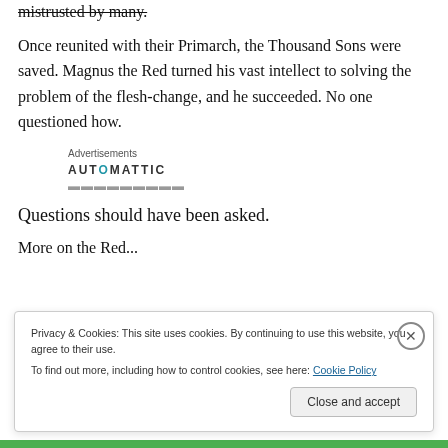mistrusted by many.
Once reunited with their Primarch, the Thousand Sons were saved. Magnus the Red turned his vast intellect to solving the problem of the flesh-change, and he succeeded. No one questioned how.
[Figure (other): Advertisements section with Automattic logo and partial text below it]
Questions should have been asked.
More on the Red...
Privacy & Cookies: This site uses cookies. By continuing to use this website, you agree to their use.
To find out more, including how to control cookies, see here: Cookie Policy